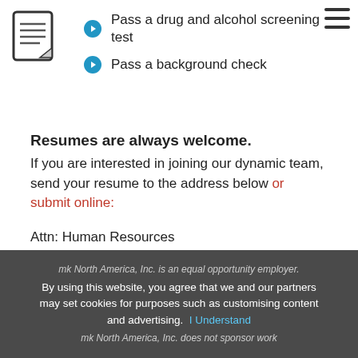[Figure (illustration): Document/notepad icon in top left corner]
[Figure (illustration): Hamburger menu icon in top right corner]
Pass a drug and alcohol screening test
Pass a background check
Resumes are always welcome.
If you are interested in joining our dynamic team, send your resume to the address below or submit online:
Attn: Human Resources
mk North America, Inc.
105 Highland Park Drive
Bloomfield, CT 06002
mk North America, Inc. is an equal opportunity employer.
By using this website, you agree that we and our partners may set cookies for purposes such as customising content and advertising. I Understand
mk North America, Inc. does not sponsor work